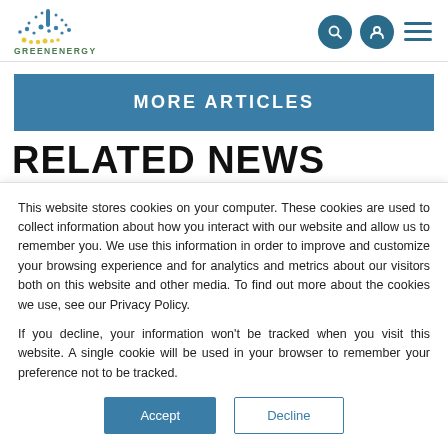GREENENERGY
MORE ARTICLES
RELATED NEWS
This website stores cookies on your computer. These cookies are used to collect information about how you interact with our website and allow us to remember you. We use this information in order to improve and customize your browsing experience and for analytics and metrics about our visitors both on this website and other media. To find out more about the cookies we use, see our Privacy Policy.
If you decline, your information won't be tracked when you visit this website. A single cookie will be used in your browser to remember your preference not to be tracked.